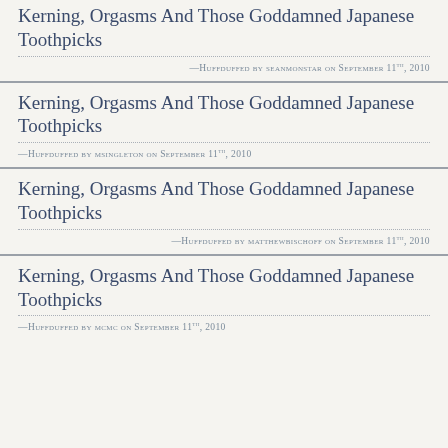Kerning, Orgasms And Those Goddamned Japanese Toothpicks
—Huffduffed by seanmonstar on September 11th, 2010
Kerning, Orgasms And Those Goddamned Japanese Toothpicks
—Huffduffed by msingleton on September 11th, 2010
Kerning, Orgasms And Those Goddamned Japanese Toothpicks
—Huffduffed by matthewbischoff on September 11th, 2010
Kerning, Orgasms And Those Goddamned Japanese Toothpicks
—Huffduffed by mcmc on September 11th, 2010